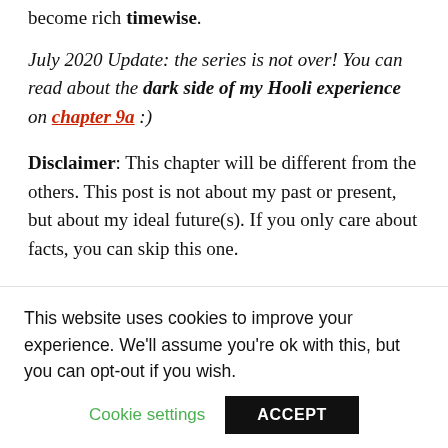become rich timewise.
July 2020 Update: the series is not over! You can read about the dark side of my Hooli experience on chapter 9a :)
Disclaimer: This chapter will be different from the others. This post is not about my past or present, but about my ideal future(s). If you only care about facts, you can skip this one.
So, I've been extremely lucky so far: I was born with some skills and a lot of curiosity. I've escaped the
This website uses cookies to improve your experience. We'll assume you're ok with this, but you can opt-out if you wish.
Cookie settings   ACCEPT